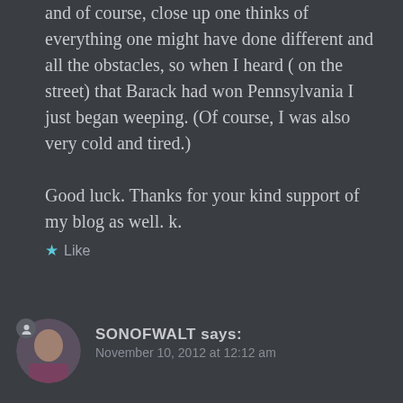and of course, close up one thinks of everything one might have done different and all the obstacles, so when I heard ( on the street) that Barack had won Pennsylvania I just began weeping. (Of course, I was also very cold and tired.)

Good luck. Thanks for your kind support of my blog as well. k.
★ Like
SONOFWALT says: November 10, 2012 at 12:12 am